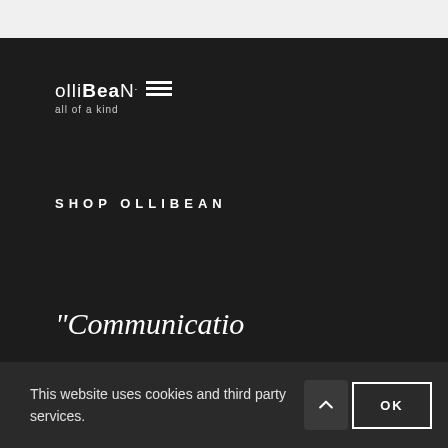[Figure (logo): Ollibean logo with hamburger menu icon and tagline 'all of a kind' on dark background]
SHOP OLLIBEAN
"Communicatio .
This website uses cookies and third party services.